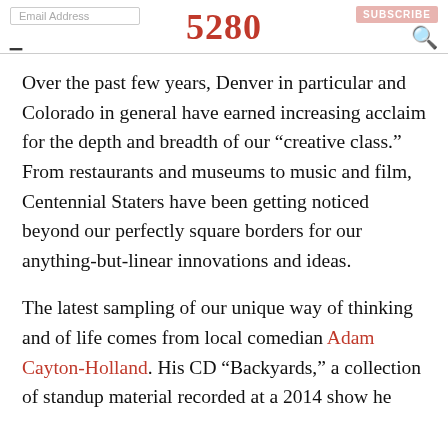5280
Over the past few years, Denver in particular and Colorado in general have earned increasing acclaim for the depth and breadth of our “creative class.” From restaurants and museums to music and film, Centennial Staters have been getting noticed beyond our perfectly square borders for our anything-but-linear innovations and ideas.
The latest sampling of our unique way of thinking and of life comes from local comedian Adam Cayton-Holland. His CD “Backyards,” a collection of standup material recorded at a 2014 show he